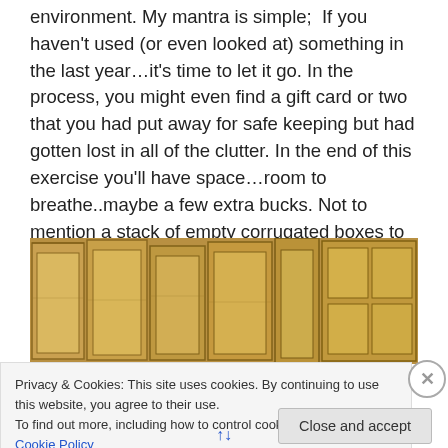environment. My mantra is simple;  If you haven't used (or even looked at) something in the last year…it's time to let it go. In the process, you might even find a gift card or two that you had put away for safe keeping but had gotten lost in all of the clutter. In the end of this exercise you'll have space…room to breathe..maybe a few extra bucks. Not to mention a stack of empty corrugated boxes to recycle or ? Now inhale…hold it…
[Figure (photo): A photo of multiple open corrugated cardboard boxes arranged together, viewed from above at an angle, showing empty interiors.]
Privacy & Cookies: This site uses cookies. By continuing to use this website, you agree to their use.
To find out more, including how to control cookies, see here: Cookie Policy